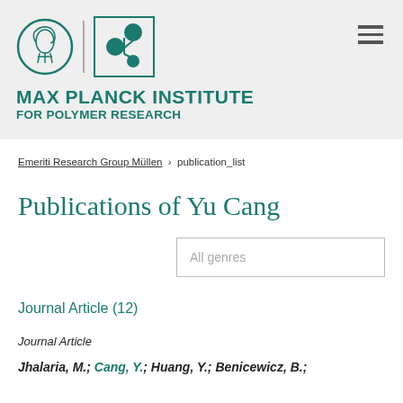[Figure (logo): Max Planck Institute for Polymer Research logo with Minerva circle emblem, molecular structure icon, and teal institute name text]
Emeriti Research Group Müllen  ›  publication_list
Publications of Yu Cang
Journal Article (12)
Journal Article
Jhalaria, M.; Cang, Y.; Huang, Y.; Benicewicz, B.;